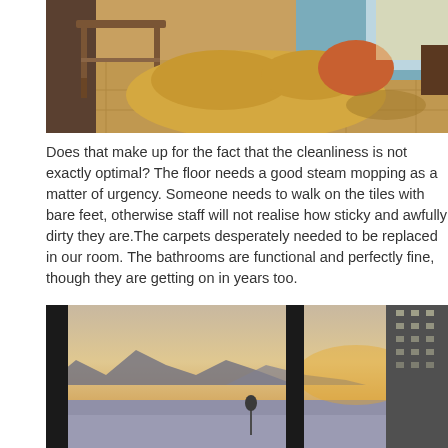[Figure (photo): Interior living room photo showing a wooden chair, yellow/golden sofa with orange cushion, tiled floor, and blue curtains in the background with sunlight.]
Does that make up for the fact that the cleanliness is not exactly optimal? The floor needs a good steam mopping as a matter of urgency. Someone needs to walk on the tiles with bare feet, otherwise staff will not realise how sticky and awfully dirty they are.The carpets desperately needed to be replaced in our room. The bathrooms are functional and perfectly fine, though they are getting on in years too.
[Figure (photo): Outdoor/seascape photo taken through window frames showing a calm ocean, mountain silhouettes in the distance, a building on the right, and a warm sunset sky.]